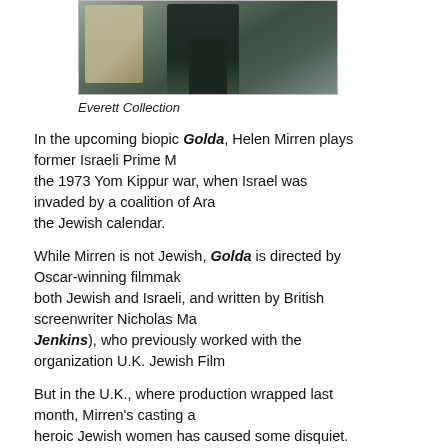[Figure (photo): A person in a dark shirt standing indoors, holding a glass, with a window and curtains visible in the background.]
Everett Collection
In the upcoming biopic Golda, Helen Mirren plays former Israeli Prime Minister Golda Meir during the 1973 Yom Kippur war, when Israel was invaded by a coalition of Arab nations on the holiest day of the Jewish calendar.
While Mirren is not Jewish, Golda is directed by Oscar-winning filmmaker Guy Nattiv, who is both Jewish and Israeli, and written by British screenwriter Nicholas Martin (Crocodile Dundee, Jenkins), who previously worked with the organization U.K. Jewish Film.
But in the U.K., where production wrapped last month, Mirren's casting as one of the most heroic Jewish women has caused some disquiet.
Actor Maureen Lipman (The Pianist) highlighted the discussion about what some are calling "Jewface" when she told a newspaper she "disagreed" with Mirren's casting because "The Jewishness of the character is so integral. I'm sure she will be marvelous but it wouldn't be allowed for Ben Kingsley to play Nelson Mandela. You just couldn't ever